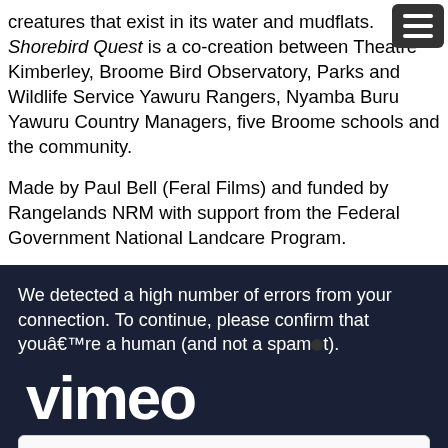creatures that exist in its water and mudflats. Shorebird Quest is a co-creation between Theatre Kimberley, Broome Bird Observatory, Parks and Wildlife Service Yawuru Rangers, Nyamba Buru Yawuru Country Managers, five Broome schools and the community.
Made by Paul Bell (Feral Films) and funded by Rangelands NRM with support from the Federal Government National Landcare Program.
We detected a high number of errors from your connection. To continue, please confirm that youâ€™re a human (and not a spambot).
[Figure (screenshot): reCAPTCHA verification widget with checkbox 'I'm not a robot' and reCAPTCHA logo with Privacy and Terms links]
[Figure (logo): Vimeo logo in large bold white text on dark background]